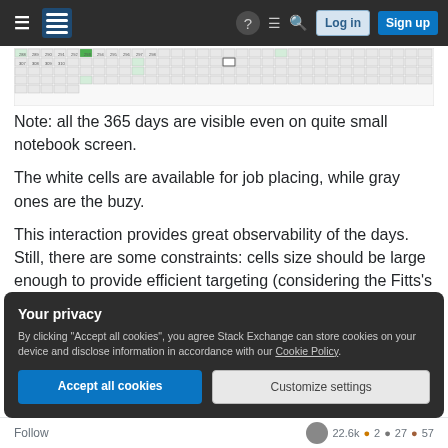Stack Exchange navigation bar with hamburger menu, logo, help, chat, search icons, Log in and Sign up buttons
[Figure (table-as-image): A dense grid/spreadsheet showing 365 days, with small numbered cells, some highlighted in green and some in white or gray, representing a job scheduling calendar.]
Note: all the 365 days are visible even on quite small notebook screen.
The white cells are available for job placing, while gray ones are the buzy.
This interaction provides great observability of the days. Still, there are some constraints: cells size should be large enough to provide efficient targeting (considering the Fitts's law).
Your privacy
By clicking "Accept all cookies", you agree Stack Exchange can store cookies on your device and disclose information in accordance with our Cookie Policy.
Accept all cookies  Customize settings
Follow  22.6k  2  27  57